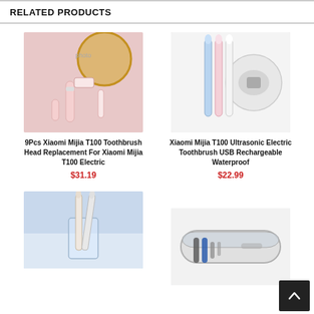RELATED PRODUCTS
[Figure (photo): Pink Xiaomi Mijia T100 electric toothbrush with replacement head on pink background with gold circle]
9Pcs Xiaomi Mijia T100 Toothbrush Head Replacement For Xiaomi Mijia T100 Electric
$31.19
[Figure (photo): Xiaomi Mijia T100 Ultrasonic Electric Toothbrushes in blue and pink colors with USB charger detail]
Xiaomi Mijia T100 Ultrasonic Electric Toothbrush USB Rechargeable Waterproof
$22.99
[Figure (photo): Two Xiaomi toothbrushes standing in a glass on blue background]
[Figure (photo): Xiaomi toothbrush in a transparent travel case]